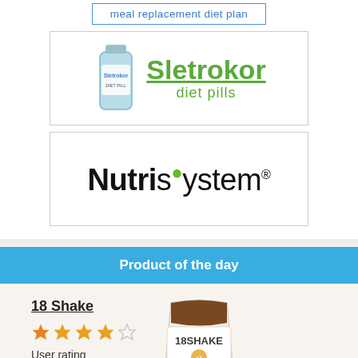[Figure (other): Clickable ad link box: 'meal replacement diet plan' in blue text with border]
[Figure (logo): Sletrokor diet pills logo with bottle image and green text]
[Figure (logo): Nutrisystem logo with green leaf accent and registered trademark symbol]
Product of the day
18 Shake
[Figure (illustration): 18 Shake product bag - chocolate/vanilla flavor]
User rating
95%
READ MORE